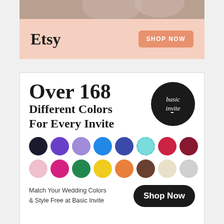[Figure (photo): Top portion of Etsy banner showing a partial photo of people at the top]
[Figure (infographic): Etsy banner with logo text 'Etsy' and 'SHOP NOW' button on salmon/peach background]
[Figure (infographic): Basic Invite advertisement showing 'Over 168 Different Colors For Every Invite' with color swatches, Basic Invite logo, and Shop Now button]